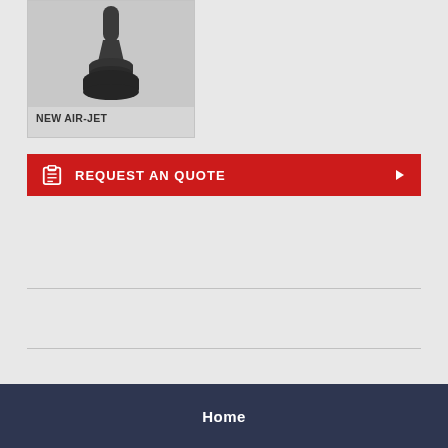[Figure (photo): Photo of a dark gray rubber air-jet valve/stem component on a light gray background, with product label 'NEW AIR-JET' below]
REQUEST AN QUOTE
Home